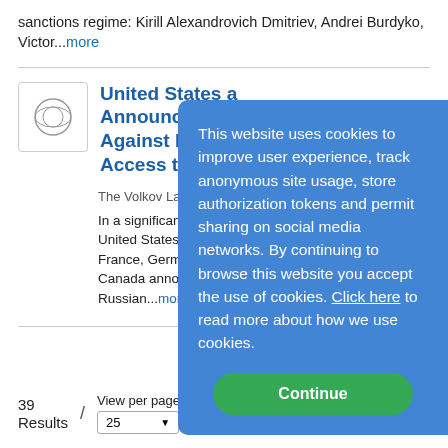sanctions regime: Kirill Alexandrovich Dmitriev, Andrei Burdyko, Victor...more
United States and Announce Furth Against Russia T Access to the S
The Volkov Law Group on 3...
In a significant step, on Satu United States and leaders of France, Germany, Italy, the Canada announced additiona Russian...more
This website uses cookies to improve user experience, track anonymous site usage, store authorization tokens and permit sharing on social media networks. By continuing to browse this website you accept the use of cookies. Click here to read more about how we use cookies.
Continue
39 Results
View per page 25